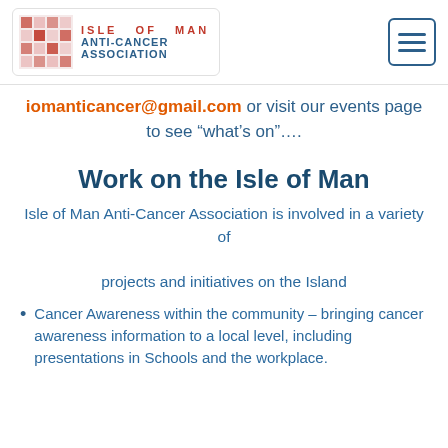[Figure (logo): Isle of Man Anti-Cancer Association logo with checkered grid icon and organization name in red and blue text, plus a hamburger menu icon on the right]
iomanticancer@gmail.com or visit our events page to see “what’s on”....
Work on the Isle of Man
Isle of Man Anti-Cancer Association is involved in a variety of projects and initiatives on the Island
Cancer Awareness within the community – bringing cancer awareness information to a local level, including presentations in Schools and the workplace.